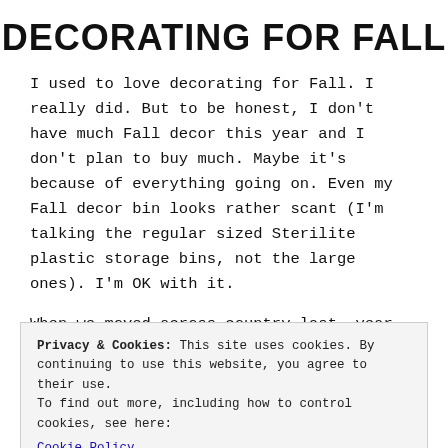DECORATING FOR FALL
I used to love decorating for Fall. I really did. But to be honest, I don't have much Fall decor this year and I don't plan to buy much. Maybe it's because of everything going on. Even my Fall decor bin looks rather scant (I'm talking the regular sized Sterilite plastic storage bins, not the large ones). I'm OK with it.
When we moved across country last, year, I got rid
Privacy & Cookies: This site uses cookies. By continuing to use this website, you agree to their use.
To find out more, including how to control cookies, see here:
Cookie Policy
Close and accept
So I picked up a few items last Fall but they just